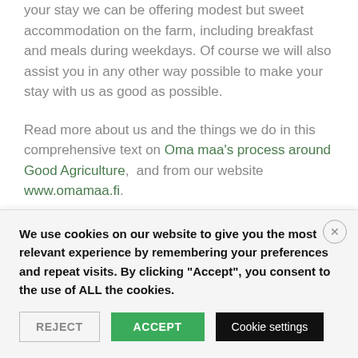your stay we can be offering modest but sweet accommodation on the farm, including breakfast and meals during weekdays. Of course we will also assist you in any other way possible to make your stay with us as good as possible.
Read more about us and the things we do in this comprehensive text on Oma maa's process around Good Agriculture, and from our website www.omamaa.fi.
Everyone interested is most welcome to get in touch with us and ask any questions you might have! Please write to invest@omamaa.fi
We use cookies on our website to give you the most relevant experience by remembering your preferences and repeat visits. By clicking "Accept", you consent to the use of ALL the cookies.